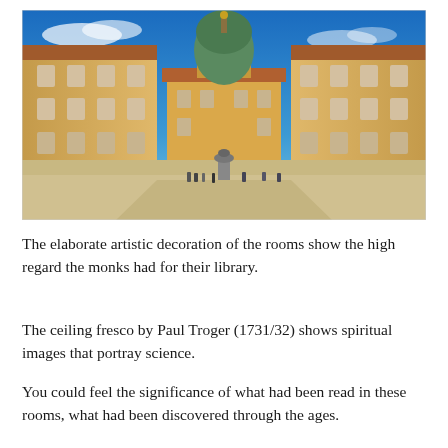[Figure (photo): Panoramic photograph of Melk Abbey courtyard showing Baroque architecture with golden-yellow facades, a central dome with green copper roof, red-tiled roofs, and tourists walking in the cobblestone courtyard under a blue sky.]
The elaborate artistic decoration of the rooms show the high regard the monks had for their library.
The ceiling fresco by Paul Troger (1731/32) shows spiritual images that portray science.
You could feel the significance of what had been read in these rooms, what had been discovered through the ages.